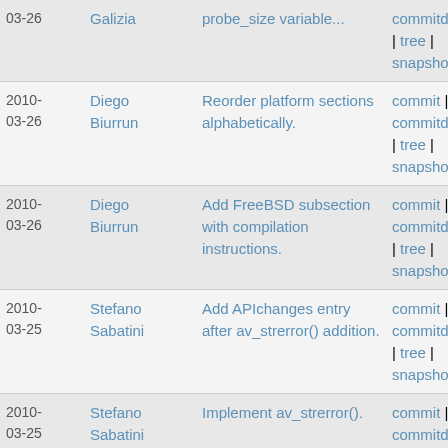| Date | Author | Message | Links |
| --- | --- | --- | --- |
| 2010-03-26 | Galizia | probe_size variable... | commitdiff | tree | snapshot |
| 2010-03-26 | Diego Biurrun | Reorder platform sections alphabetically. | commit | commitdiff | tree | snapshot |
| 2010-03-26 | Diego Biurrun | Add FreeBSD subsection with compilation instructions. | commit | commitdiff | tree | snapshot |
| 2010-03-25 | Stefano Sabatini | Add APIchanges entry after av_strerror() addition. | commit | commitdiff | tree | snapshot |
| 2010-03-25 | Stefano Sabatini | Implement av_strerror(). | commit | commitdiff | tree | snapshot |
| 2010-03-25 | Stefano Sabatini | Prefer '///< ...' doxygen inline syntax over '/**<... | commit | commitdiff | tree | |